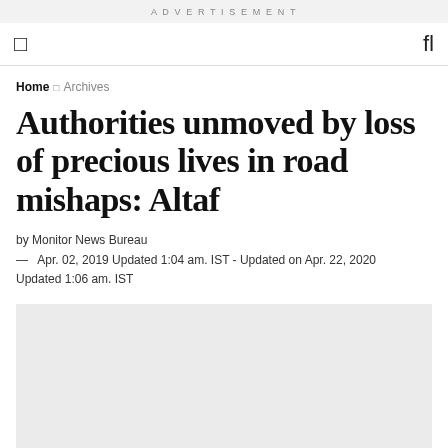ADVERTISEMENT
☰  🔍
Home › Archives
Authorities unmoved by loss of precious lives in road mishaps: Altaf
by Monitor News Bureau
— Apr. 02, 2019 Updated 1:04 am. IST - Updated on Apr. 22, 2020 Updated 1:06 am. IST
[Figure (photo): Gray placeholder image block below the article metadata]